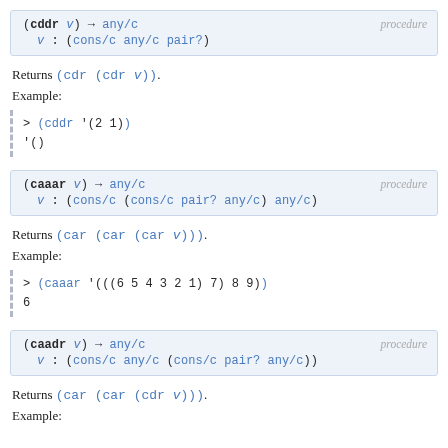(cddr v) → any/c   procedure
  v : (cons/c any/c pair?)
Returns (cdr (cdr v)).
Example:
> (cddr '(2 1))
'()
(caaar v) → any/c   procedure
  v : (cons/c (cons/c pair? any/c) any/c)
Returns (car (car (car v))).
Example:
> (caaar '(((6 5 4 3 2 1) 7) 8 9))
6
(caadr v) → any/c   procedure
  v : (cons/c any/c (cons/c pair? any/c))
Returns (car (car (cdr v))).
Example: